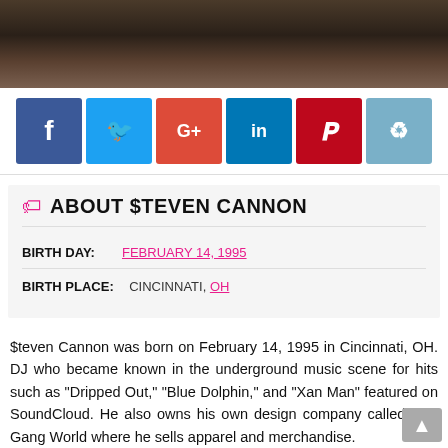[Figure (photo): Cropped photo showing lower face/neck area of a person, dark background]
[Figure (infographic): Social media share buttons: Facebook (f), Twitter (bird), Google+ (G+), LinkedIn (in), Pinterest (P), Reddit (alien icon)]
ABOUT $TEVEN CANNON
BIRTH DAY: FEBRUARY 14, 1995
BIRTH PLACE: CINCINNATI, OH
$teven Cannon was born on February 14, 1995 in Cincinnati, OH. DJ who became known in the underground music scene for hits such as "Dripped Out," "Blue Dolphin," and "Xan Man" featured on SoundCloud. He also owns his own design company called Low Gang World where he sells apparel and merchandise.
$teven Cannon is a member of DJ